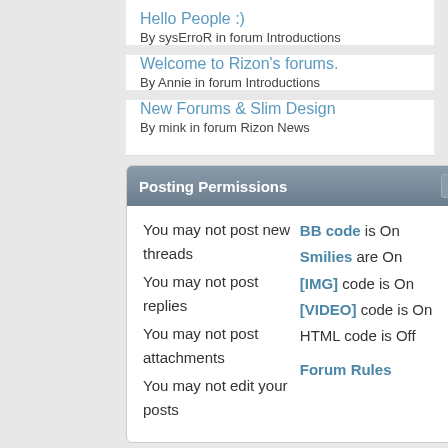Hello People :)
By sysErroR in forum Introductions
Welcome to Rizon's forums.
By Annie in forum Introductions
New Forums & Slim Design
By mink in forum Rizon News
Posting Permissions
You may not post new threads
You may not post replies
You may not post attachments
You may not edit your posts
BB code is On
Smilies are On
[IMG] code is On
[VIDEO] code is On
HTML code is Off
Forum Rules
-- vB4 Default Style
All times are GMT -5. The time now is 01:0
Powered by vBulletin®
Copyright © 2022 vBulletin Solutions Inc. All righ